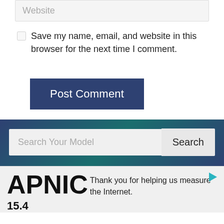Website
Save my name, email, and website in this browser for the next time I comment.
Post Comment
Search Your Model
Search
[Figure (logo): APNIC logo in bold black text]
Thank you for helping us measure the Internet.
15.4